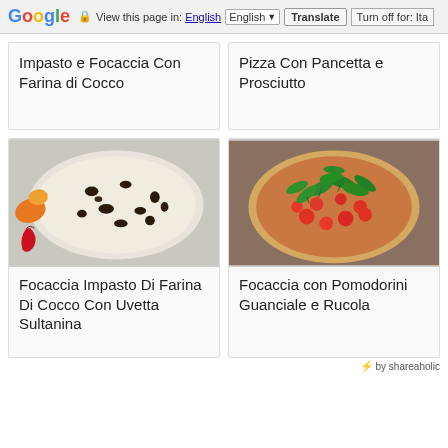Google  View this page in: English  Translate  Turn off for: Ita
Impasto e Focaccia Con Farina di Cocco
Pizza Con Pancetta e Prosciutto
[Figure (photo): Focaccia impasto made with coconut flour on a plate, topped with dark spots, surrounded by colorful peppers and chili]
Focaccia Impasto Di Farina Di Cocco Con Uvetta Sultanina
[Figure (photo): Focaccia pizza topped with cherry tomatoes, guanciale and fresh rucola on a wooden board]
Focaccia con Pomodorini Guanciale e Rucola
by shareaholic